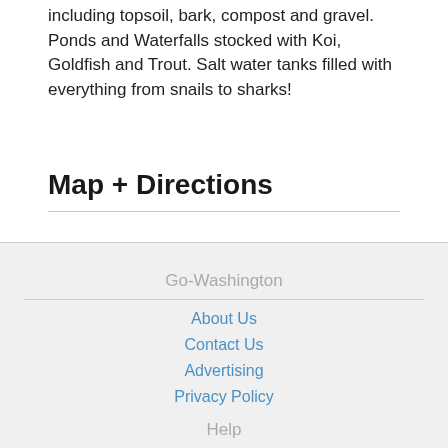including topsoil, bark, compost and gravel. Ponds and Waterfalls stocked with Koi, Goldfish and Trout. Salt water tanks filled with everything from snails to sharks!
Map + Directions
Go-Washington
About Us
Contact Us
Advertising
Privacy Policy
Help
Site Map
Report a Problem